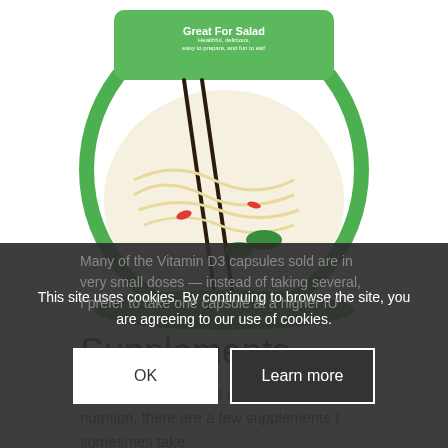[Figure (photo): Product photo of a food package — appears to be a bag of noodles or salad noodles with green striped packaging, labeled 'Great For Salad' with text about being healthful, delicious, easy to prepare. Shows noodles with vegetables.]
Supplements
Depending on time of the year and nutrition, there are a few supplements I sometimes take.
Vitamin D
Many of the Vitamin D3 capsules sold are in very small doses — instead of taking several, I prefer to take one capsule at a higher IU
This site uses cookies. By continuing to browse the site, you are agreeing to our use of cookies.